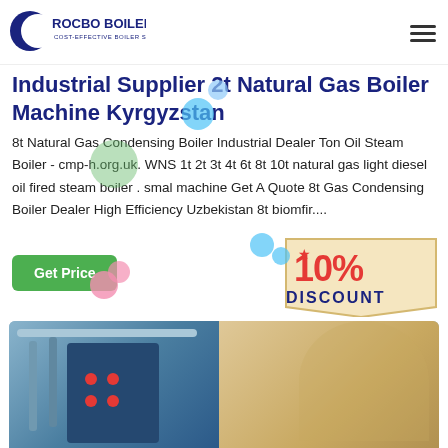[Figure (logo): Rocbo Boiler logo — blue crescent and bold text ROCBO BOILER with tagline COST-EFFECTIVE BOILER SUPPLIER]
Industrial Supplier 2t Natural Gas Boiler Machine Kyrgyzstan
8t Natural Gas Condensing Boiler Industrial Dealer Ton Oil Steam Boiler - cmp-h.org.uk. WNS 1t 2t 3t 4t 6t 8t 10t natural gas light diesel oil fired steam boiler . smal machine Get A Quote 8t Gas Condensing Boiler Dealer High Efficiency Uzbekistan 8t biomfir....
[Figure (infographic): Get Price green button and 10% DISCOUNT badge promotional graphic]
[Figure (photo): Industrial boiler machine on the left and customer service agent with headset on the right, with 7×24 Online label partially visible at the bottom]